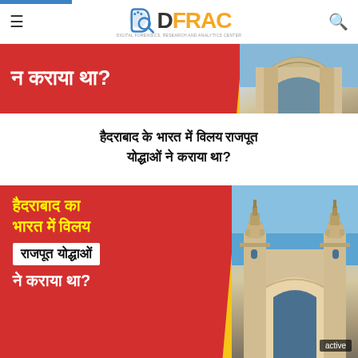DFRAC - Digital Forensics Research and Analytics Center
[Figure (photo): Partial banner image showing Hindi text on red background with arch monument photo — cropped top portion showing न कराया था?]
हैदराबाद के भारत में विलय राजपूत योद्धाओं ने कराया था?
[Figure (infographic): Red banner with Hindi text: हैदराबाद का भारत में विलय राजपूत योद्धाओं ने कराया था? with Charminar monument photo on right side. Active badge in bottom right.]